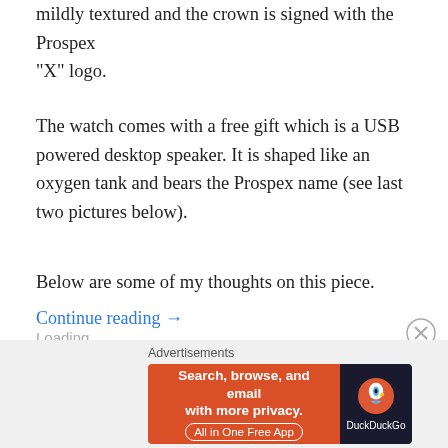mildly textured and the crown is signed with the Prospex “X” logo.
The watch comes with a free gift which is a USB powered desktop speaker. It is shaped like an oxygen tank and bears the Prospex name (see last two pictures below).
Below are some of my thoughts on this piece.
Continue reading →
Share this:
Facebook  Twitter  Reddit  Pinterest  More
Loading...
Advertisements
[Figure (screenshot): DuckDuckGo advertisement banner: orange left side reading 'Search, browse, and email with more privacy. All in One Free App' and dark right side with DuckDuckGo logo]